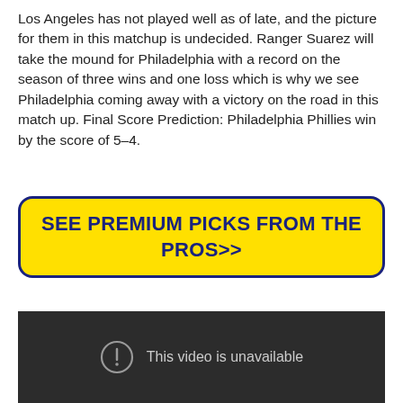Los Angeles has not played well as of late, and the picture for them in this matchup is undecided. Ranger Suarez will take the mound for Philadelphia with a record on the season of three wins and one loss which is why we see Philadelphia coming away with a victory on the road in this match up. Final Score Prediction: Philadelphia Phillies win by the score of 5–4.
[Figure (other): Yellow button with dark blue border and bold dark blue text reading SEE PREMIUM PICKS FROM THE PROS>>]
[Figure (screenshot): Dark video embed placeholder showing an exclamation mark circle icon and the text 'This video is unavailable']